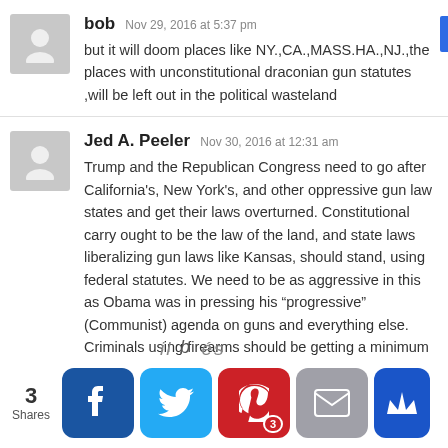bob Nov 29, 2016 at 5:37 pm
but it will doom places like NY.,CA.,MASS.HA.,NJ.,the places with unconstitutional draconian gun statutes ,will be left out in the political wasteland
Jed A. Peeler Nov 30, 2016 at 12:31 am
Trump and the Republican Congress need to go after California's, New York's, and other oppressive gun law states and get their laws overturned. Constitutional carry ought to be the law of the land, and state laws liberalizing gun laws like Kansas, should stand, using federal statutes. We need to be as aggressive in this as Obama was in pressing his “progressive” (Communist) agenda on guns and everything else. Criminals using firearms should be getting a minimum of twenty years in jail. That would solve 99% of Second Amendment
3 Shares